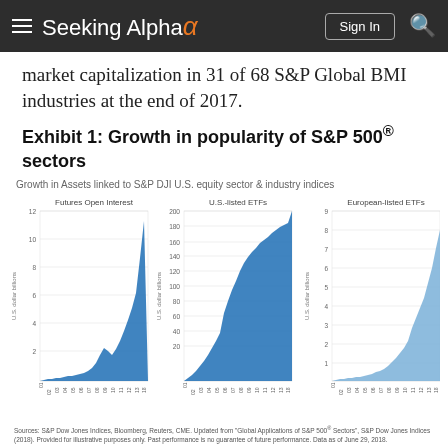Seeking Alpha
market capitalization in 31 of 68 S&P Global BMI industries at the end of 2017.
Exhibit 1: Growth in popularity of S&P 500® sectors
[Figure (area-chart): Three area charts side by side showing growth in assets. Left: Futures Open Interest (U.S. dollar billions, max ~12). Middle: U.S.-listed ETFs (U.S. dollar billions, max ~200). Right: European-listed ETFs (U.S. dollar billions, max ~9). All charts show sharp growth toward recent years.]
Sources: S&P Dow Jones Indices, Bloomberg, Reuters, CME. Updated from "Global Applications of S&P 500® Sectors", S&P Dow Jones Indices (2018). Provided for illustrative purposes only. Past performance is no guarantee of future performance. Data as of June 29, 2018.